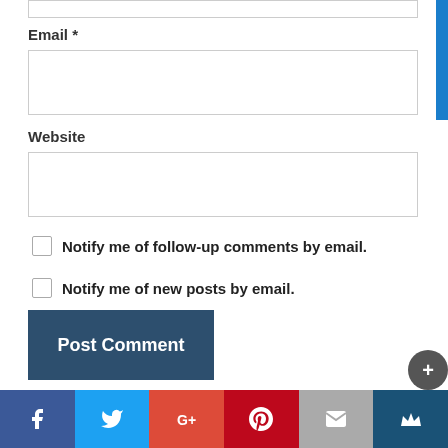Email *
Website
Notify me of follow-up comments by email.
Notify me of new posts by email.
Post Comment
Join these conversations
[Figure (screenshot): Social media share bar with Facebook, Twitter, Google+, Pinterest, Email, and Crown icons]